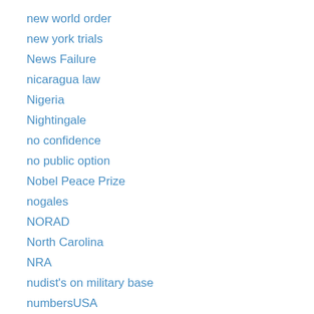new world order
new york trials
News Failure
nicaragua law
Nigeria
Nightingale
no confidence
no public option
Nobel Peace Prize
nogales
NORAD
North Carolina
NRA
nudist's on military base
numbersUSA
NYC gun cases
NYC trial
NYCLU
NYPD
NYU